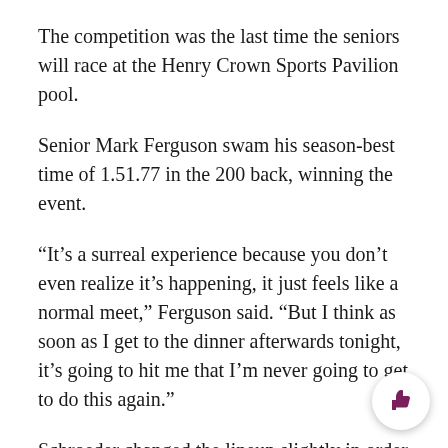The competition was the last time the seniors will race at the Henry Crown Sports Pavilion pool.
Senior Mark Ferguson swam his season-best time of 1.51.77 in the 200 back, winning the event.
“It’s a surreal experience because you don’t even realize it’s happening, it just feels like a normal meet,” Ferguson said. “But I think as soon as I get to the dinner afterwards tonight, it’s going to hit me that I’m never going to get to do this again.”
Schroeder changed the lineup slightly in order to accommodate an all-senior relay team. Seniors Uula Auren, Ferguson, Aaron Sears and William Rosler — a rare combination — won the 400 medley relay.
Because relay teams can only include four athletes, one of NU’s five senior swimmers was left off the all-senior re... That stand-by was Andrea Spit... and...